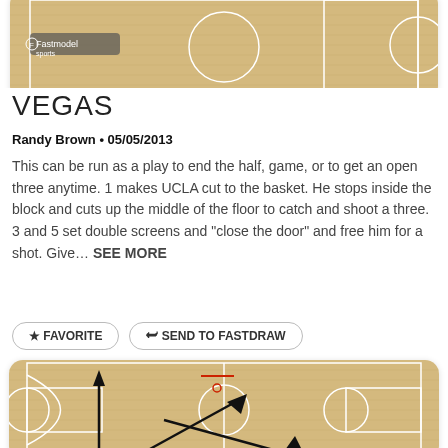[Figure (illustration): Basketball court diagram showing a play, partial view at top of page]
VEGAS
Randy Brown • 05/05/2013
This can be run as a play to end the half, game, or to get an open three anytime. 1 makes UCLA cut to the basket. He stops inside the block and cuts up the middle of the floor to catch and shoot a three. 3 and 5 set double screens and "close the door" and free him for a shot. Give… SEE MORE
★ FAVORITE
⬑ SEND TO FASTDRAW
[Figure (illustration): Basketball court diagram showing arrows indicating player movement, partial view at bottom of page]